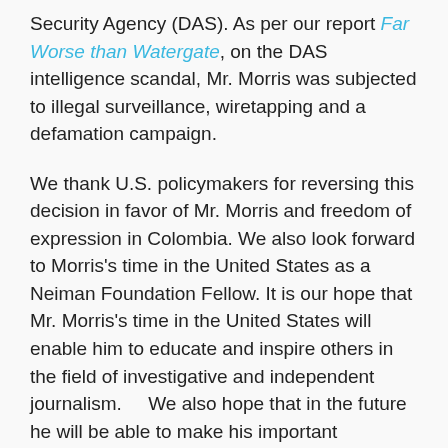Security Agency (DAS). As per our report Far Worse than Watergate, on the DAS intelligence scandal, Mr. Morris was subjected to illegal surveillance, wiretapping and a defamation campaign.
We thank U.S. policymakers for reversing this decision in favor of Mr. Morris and freedom of expression in Colombia. We also look forward to Morris's time in the United States as a Neiman Foundation Fellow. It is our hope that Mr. Morris's time in the United States will enable him to educate and inspire others in the field of investigative and independent journalism.     We also hope that in the future he will be able to make his important contributions as a journalist without the fear of physical harm and political persecution.